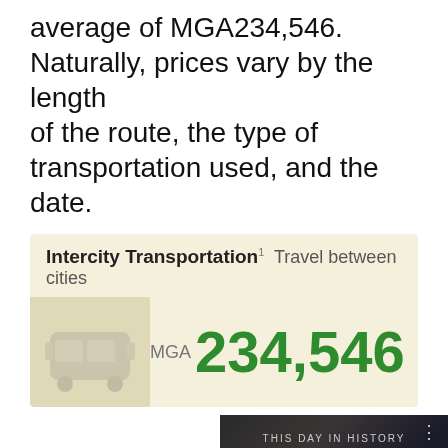average of MGA234,546. Naturally, prices vary by the length of the route, the type of transportation used, and the date.
[Figure (infographic): Card showing Intercity Transportation with superscript 1, subtitle 'Travel between cities', bus icon on left, and value MGA 234,546 in green on right]
This website sometimes uses cookies for tracking purposes. See our privacy policy for more details.
[Figure (screenshot): Video thumbnail showing 'THIS DAY IN HISTORY' with number 5 in blue, AUGUST text, play button, mute icon, progress bar, and fullscreen button]
recommend Kayak